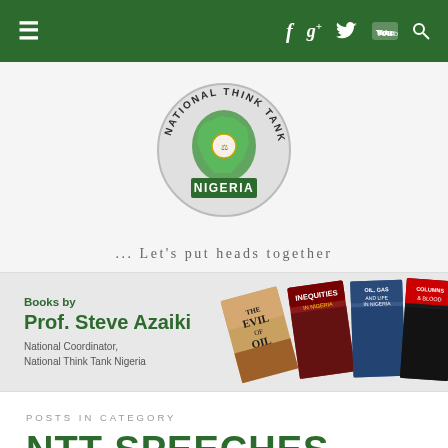Navigation bar with hamburger menu, social icons: f, g+, Twitter, YouTube, search
[Figure (logo): National Think Tank Nigeria circular logo with map of Nigeria and green 'NIGERIA' banner]
... Let's put heads together
[Figure (photo): Books by Prof. Steve Azaiki, National Coordinator, National Think Tank Nigeria. Book covers visible: The Evil of Oil, Inequities in Nigeria, Oil Gas and Life in Nigeria, Columns & Blood.]
POSTS IN CATEGORY
NTT SPEECHES